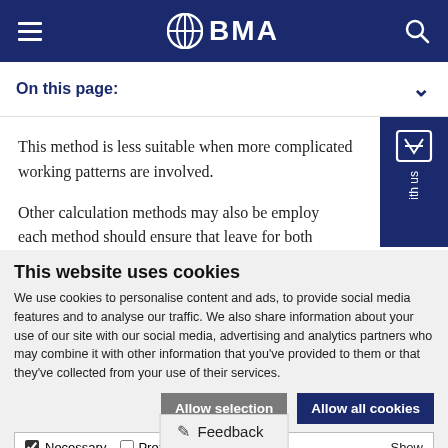BMA
On this page:
This method is less suitable when more complicated working patterns are involved.
Other calculation methods may also be employed each method should ensure that leave for both
This website uses cookies
We use cookies to personalise content and ads, to provide social media features and to analyse our traffic. We also share information about your use of our site with our social media, advertising and analytics partners who may combine it with other information that you've provided to them or that they've collected from your use of their services.
Allow selection   Allow all cookies
Necessary  Preferences  Statistics  Marketing  Show details
Feedback